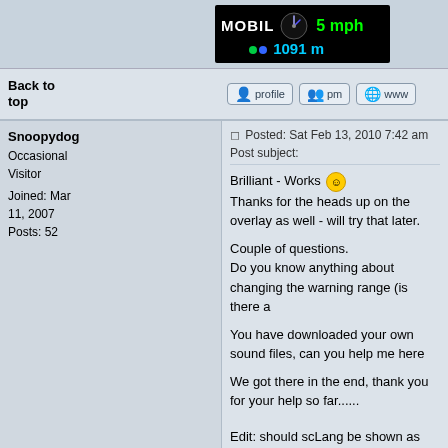[Figure (screenshot): Mobile speed display showing MOBIL, 5 mph, 1091 m on black background]
Back to top
[Figure (other): Forum action buttons: profile, pm, www]
Snoopydog
Occasional Visitor
Joined: Mar 11, 2007
Posts: 52
Posted: Sat Feb 13, 2010 7:42 am   Post subject:
Brilliant - Works 😊
Thanks for the heads up on the overlay as well - will try that later.

Couple of questions.
Do you know anything about changing the warning range (is there a

You have downloaded your own sound files, can you help me here

We got there in the end, thank you for your help so far......


Edit: should scLang be shown as scLang.txt or just scLang in the E
Back to top
[Figure (other): Forum action buttons: profile, pm]
AMWebby
Occasional Visitor
Posted: Sat Feb 13, 2010 10:00 am   Post subject:
Glad you got it working. 😊